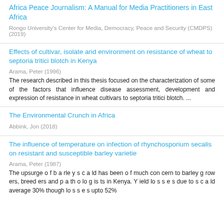Africa Peace Journalism: A Manual for Media Practitioners in East Africa
Rongo University's Center for Media, Democracy, Peace and Security (CMDPS) (2019)
Effects of cultivar, isolate and environment on resistance of wheat to septoria tritici blotch in Kenya
Arama, Peter (1996)
The research described in this thesis focused on the characterization of some of the factors that influence disease assessment, development and expression of resistance in wheat cultivars to septoria tritici blotch. ...
The Environmental Crunch in Africa
Abbink, Jon (2018)
The influence of temperature on infection of rhynchosporium secalis on resistant and susceptible barley varietie
Arama, Peter (1987)
The upsurge o f b a rle y s c a ld has been o f much con cern to barley g row ers, breed ers and p a th o lo g is ts in Kenya. Y ield lo s s e s due to s c a ld average 30% though lo s s e s upto 52%